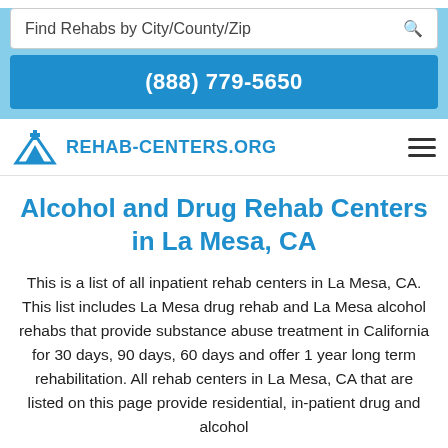Find Rehabs by City/County/Zip
(888) 779-5650
[Figure (logo): Rehab-Centers.org logo with mountain/cross icon]
Alcohol and Drug Rehab Centers in La Mesa, CA
This is a list of all inpatient rehab centers in La Mesa, CA. This list includes La Mesa drug rehab and La Mesa alcohol rehabs that provide substance abuse treatment in California for 30 days, 90 days, 60 days and offer 1 year long term rehabilitation. All rehab centers in La Mesa, CA that are listed on this page provide residential, in-patient drug and alcohol